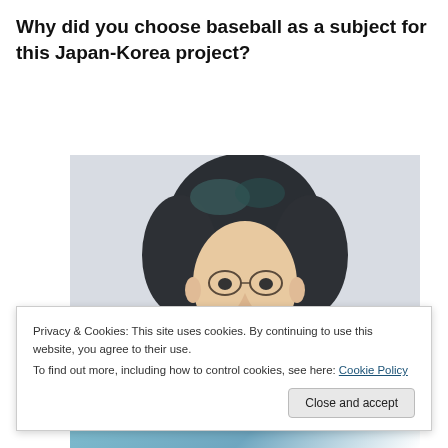Why did you choose baseball as a subject for this Japan-Korea project?
[Figure (photo): Portrait photo of an Asian man with medium-length dark hair and round glasses, against a light background, wearing a light-colored top. Only head and shoulders visible.]
Privacy & Cookies: This site uses cookies. By continuing to use this website, you agree to their use.
To find out more, including how to control cookies, see here: Cookie Policy